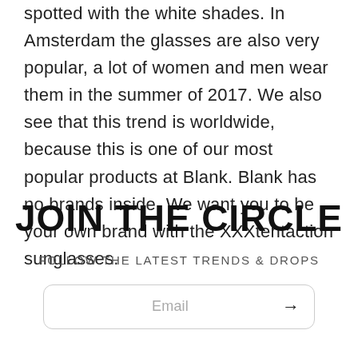spotted with the white shades. In Amsterdam the glasses are also very popular, a lot of women and men wear them in the summer of 2017. We also see that this trend is worldwide, because this is one of our most popular products at Blank. Blank has no brands inside. We want you to be your own brand with the XXXtentaction sunglasses.
JOIN THE CIRCLE
FOLLOW THE LATEST TRENDS & DROPS
Email →